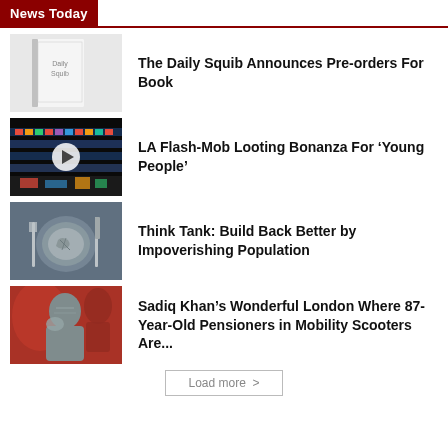News Today
The Daily Squib Announces Pre-orders For Book
LA Flash-Mob Looting Bonanza For ‘Young People’
Think Tank: Build Back Better by Impoverishing Population
Sadiq Khan’s Wonderful London Where 87-Year-Old Pensioners in Mobility Scooters Are...
Load more >